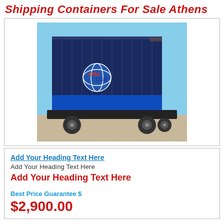Shipping Containers For Sale Athens
[Figure (photo): A large blue shipping container with CMA CGM logo, mounted on a truck chassis, photographed outdoors against a clear blue sky.]
Add Your Heading Text Here
Add Your Heading Text Here
Add Your Heading Text Here
Best Price Guarantee $
$2,900.00